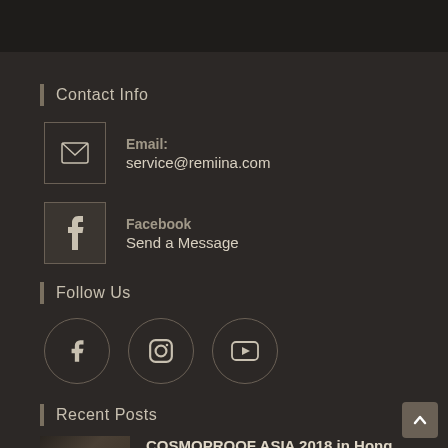Contact Info
Email: service@remiina.com
Facebook Send a Message
Follow Us
[Figure (other): Three social media icons in circles: Facebook, Instagram, YouTube]
Recent Posts
COSMOPROF ASIA 2018 in Hong Kong
2018-12-26 / 0 COMMENTS